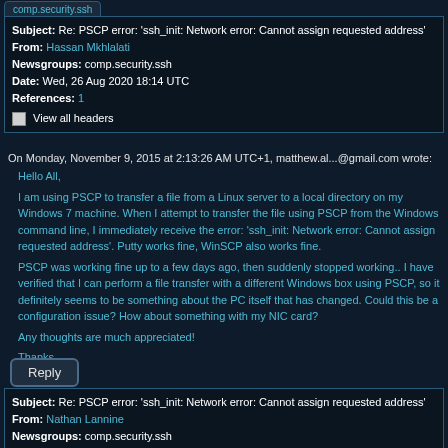comp.security.ssh
Subject: Re: PSCP error: 'ssh_init: Network error: Cannot assign requested address'
From: Hassan Mkhlalati
Newsgroups: comp.security.ssh
Date: Wed, 26 Aug 2020 18:14 UTC
References: 1
□ View all headers
On Monday, November 9, 2015 at 2:13:26 AM UTC+1, matthew.al...@gmail.com wrote:
Hello All,

I am using PSCP to transfer a file from a Linux server to a local directory on my Windows 7 machine. When I attempt to transfer the file using PSCP from the Windows command line, I immediately receive the error: 'ssh_init: Network error: Cannot assign requested address'. Putty works fine, WinSCP also works fine.

PSCP was working fine up to a few days ago, then suddenly stopped working.. I have verified that I can perform a file transfer with a different Windows box using PSCP, so it definitely seems to be something about the PC itself that has changed. Could this be a configuration issue? How about something with my NIC card?

Any thoughts are much appreciated!

Thanks,

M. Miller
Thank you, Very good but how to make it permanent
Reply
Subject: Re: PSCP error: 'ssh_init: Network error: Cannot assign requested address'
From: Nathan Lannine
Newsgroups: comp.security.ssh
Date: Thu, 27 Aug 2020 18:53 UTC
References: 1, 2